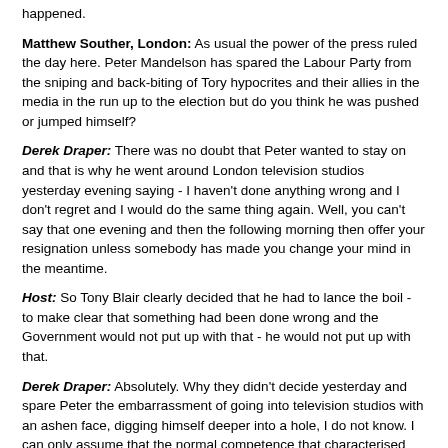happened.
Matthew Souther, London: As usual the power of the press ruled the day here. Peter Mandelson has spared the Labour Party from the sniping and back-biting of Tory hypocrites and their allies in the media in the run up to the election but do you think he was pushed or jumped himself?
Derek Draper: There was no doubt that Peter wanted to stay on and that is why he went around London television studios yesterday evening saying - I haven't done anything wrong and I don't regret and I would do the same thing again. Well, you can't say that one evening and then the following morning then offer your resignation unless somebody has made you change your mind in the meantime.
Host: So Tony Blair clearly decided that he had to lance the boil - to make clear that something had been done wrong and the Government would not put up with that - he would not put up with that.
Derek Draper: Absolutely. Why they didn't decide yesterday and spare Peter the embarrassment of going into television studios with an ashen face, digging himself deeper into a hole, I do not know. I can only assume that the normal competence that characterised New Labour has deserted them.
Host: Now you have known Peter Mandelson for